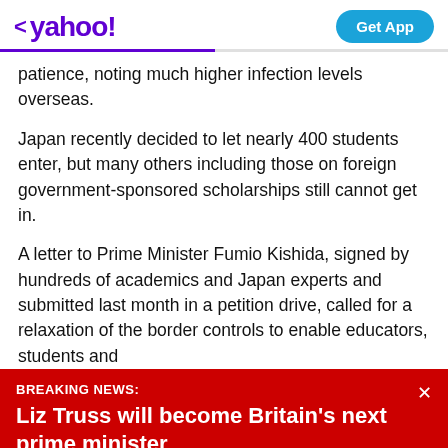< yahoo!   Get App
patience, noting much higher infection levels overseas.
Japan recently decided to let nearly 400 students enter, but many others including those on foreign government-sponsored scholarships still cannot get in.
A letter to Prime Minister Fumio Kishida, signed by hundreds of academics and Japan experts and submitted last month in a petition drive, called for a relaxation of the border controls to enable educators, students and
BREAKING NEWS: Liz Truss will become Britain's next prime minister
View comments